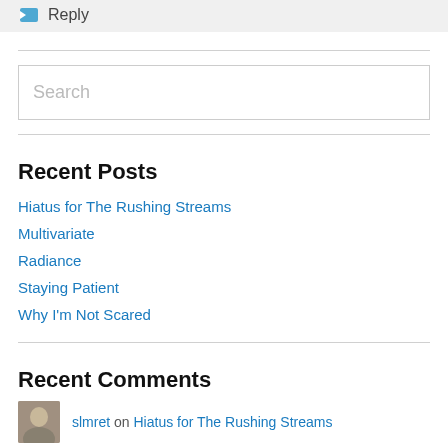Reply
Recent Posts
Hiatus for The Rushing Streams
Multivariate
Radiance
Staying Patient
Why I'm Not Scared
Recent Comments
slmret on Hiatus for The Rushing Streams